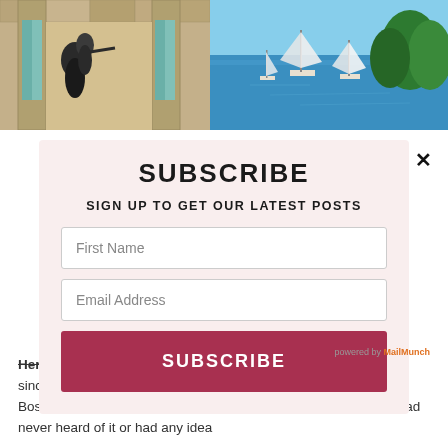[Figure (photo): Two photos side by side at top: left shows two people looking through a stone archway; right shows sailboats on blue water with green trees]
SUBSCRIBE
SIGN UP TO GET OUR LATEST POSTS
First Name (input field)
Email Address (input field)
SUBSCRIBE (button)
Herzegovina. Yes! this is the place that I have not been back to since having children. And technically it's not in Croatia but in Bosnia-Herzegovinia, about 2 ½ hours from Dubrovnik by car. I had never heard of it or had any idea